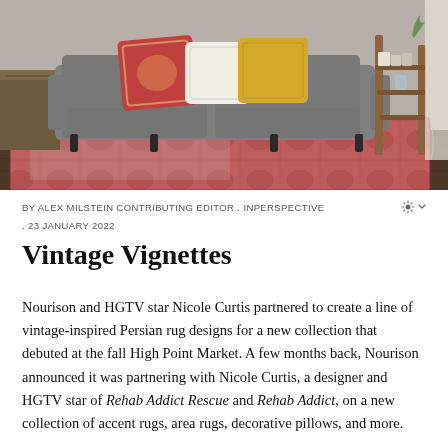[Figure (photo): A gray upholstered sofa with colorful decorative pillows (red patterned, white, and mustard yellow) on a vintage-style Persian rug in red and blue tones. A wooden step-ladder side table with books and a glass vase is visible on the right. Dark wood floor visible.]
BY ALEX MILSTEIN CONTRIBUTING EDITOR . INPERSPECTIVE
. 23 JANUARY 2022
Vintage Vignettes
Nourison and HGTV star Nicole Curtis partnered to create a line of vintage-inspired Persian rug designs for a new collection that debuted at the fall High Point Market. A few months back, Nourison announced it was partnering with Nicole Curtis, a designer and HGTV star of Rehab Addict Rescue and Rehab Addict, on a new collection of accent rugs, area rugs, decorative pillows, and more.